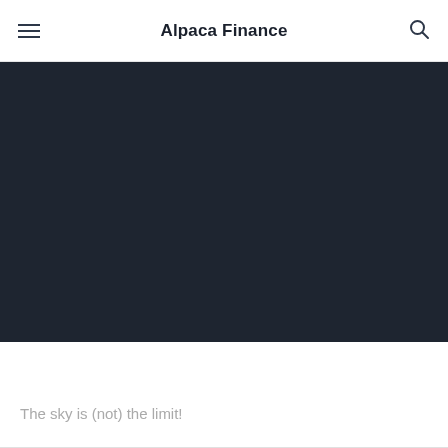Alpaca Finance
[Figure (screenshot): Dark background hero image section with near-black (#1e2530) background filling the upper portion of the page content area]
🗺️ Roadmap
The sky is (not) the limit!